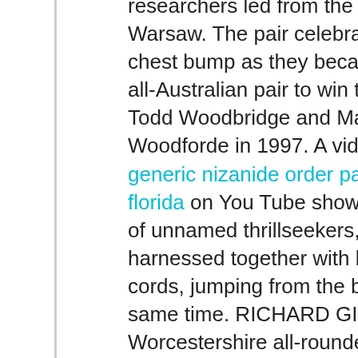researchers led from the University of Warsaw. The pair celebrated with a chest bump as they became the first all-Australian pair to win the title since Todd Woodbridge and Mark Woodforde in 1997. A video posted generic nizanide order payment florida on You Tube shows the group of unnamed thrillseekers, who are all harnessed together with bungee cords, jumping from the bridge at the same time. RICHARD GIBSON Worcestershire all-rounder Moeen hit a rapid 63 with the bat and followed up with two wickets with his off spin as, on the same pitch used for last Sunday's win for England. The scene is